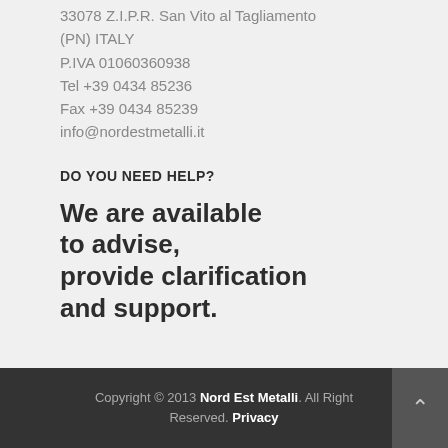33078 Z.I.P.R. San Vito al Tagliamento (PN) ITALY
P.IVA 01060360938
Tel +39 0434 85236
Fax +39 0434 85239
info@nordestmetalli.it
DO YOU NEED HELP?
We are available to advise, provide clarification and support.
CONTACT US NOW
Copyright © 2013 Nord Est Metalli. All Right Reserved. Privacy